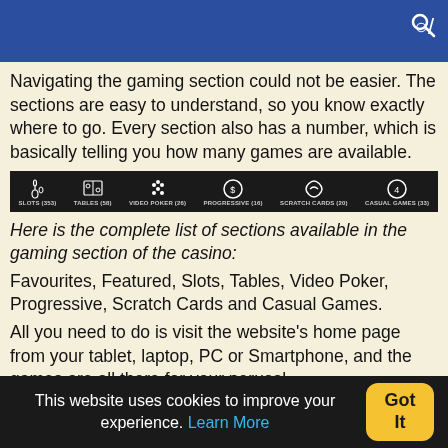Navigating the gaming section could not be easier. The sections are easy to understand, so you know exactly where to go. Every section also has a number, which is basically telling you how many games are available.
[Figure (screenshot): Casino navigation bar on black background showing game categories with icons: SLOTS (353), TABLES (58), VIDEO POKER (26), PROGRESSIVE (16), SCRATCH CARDS (20), CASUAL GAMES (33)]
Here is the complete list of sections available in the gaming section of the casino:
Favourites, Featured, Slots, Tables, Video Poker, Progressive, Scratch Cards and Casual Games.
All you need to do is visit the website's home page from your tablet, laptop, PC or Smartphone, and the games are all there for your perusal.
This website uses cookies to improve your experience. Learn More  Got It